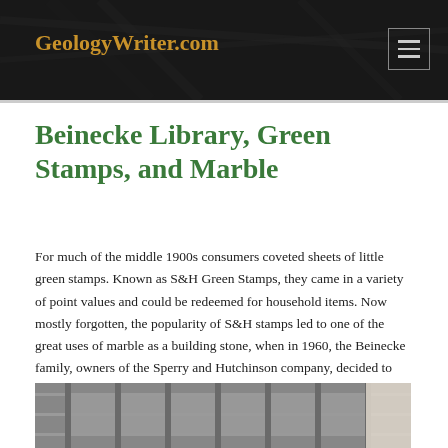GeologyWriter.com
Beinecke Library, Green Stamps, and Marble
For much of the middle 1900s consumers coveted sheets of little green stamps. Known as S&H Green Stamps, they came in a variety of point values and could be redeemed for household items. Now mostly forgotten, the popularity of S&H stamps led to one of the great uses of marble as a building stone, when in 1960, the Beinecke family, owners of the Sperry and Hutchinson company, decided to donate the money for a rare book library at Yale.
[Figure (photo): Black and white photograph of the exterior of the Beinecke Library building showing its distinctive architectural facade with geometric panels]